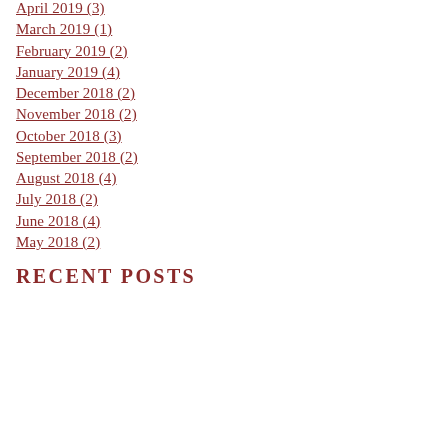April 2019 (3)
March 2019 (1)
February 2019 (2)
January 2019 (4)
December 2018 (2)
November 2018 (2)
October 2018 (3)
September 2018 (2)
August 2018 (4)
July 2018 (2)
June 2018 (4)
May 2018 (2)
RECENT POSTS